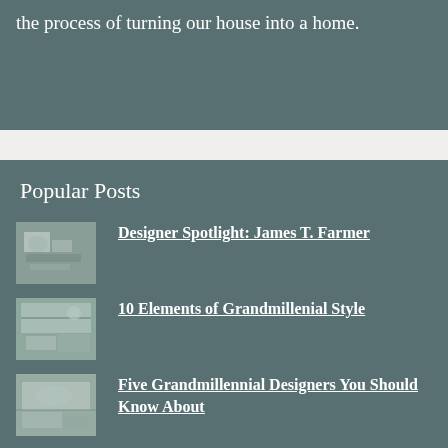the process of turning our house into a home.
Popular Posts
Designer Spotlight: James T. Farmer
10 Elements of Grandmillenial Style
Five Grandmillennial Designers You Should Know About